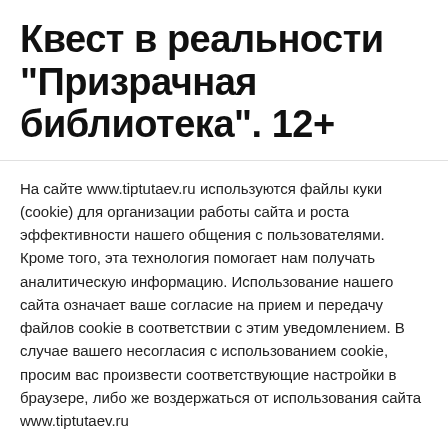Квест в реальности "Призрачная библиотека". 12+
На сайте www.tiptutaev.ru используются файлы куки (cookie) для организации работы сайта и роста эффективности нашего общения с пользователями. Кроме того, эта технология помогает нам получать аналитическую информацию. Использование нашего сайта означает ваше согласие на прием и передачу файлов cookie в соответствии с этим уведомлением. В случае вашего несогласия с использованием cookie, просим вас произвести соответствующие настройки в браузере, либо же воздержаться от использования сайта www.tiptutaev.ru